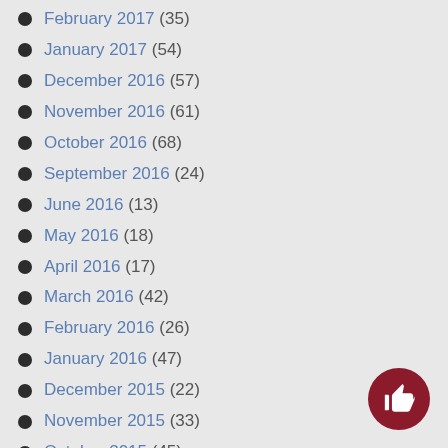February 2017 (35)
January 2017 (54)
December 2016 (57)
November 2016 (61)
October 2016 (68)
September 2016 (24)
June 2016 (13)
May 2016 (18)
April 2016 (17)
March 2016 (42)
February 2016 (26)
January 2016 (47)
December 2015 (22)
November 2015 (33)
October 2015 (45)
September 2015 (11)
June 2015 (11)
May 2015 (31)
April 2015 (17)